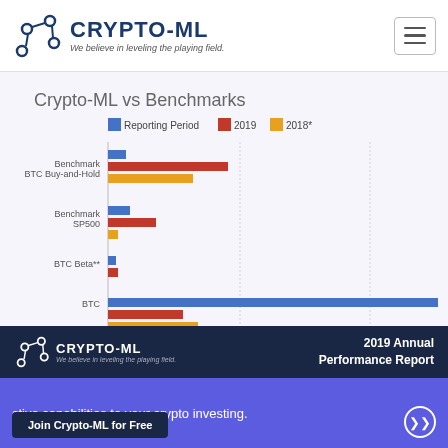CRYPTO-ML — We believe in leveling the playing field.
Crypto-ML vs Benchmarks
[Figure (bar-chart): Crypto-ML vs Benchmarks]
2019 Annual Performance Report
ctive capabilities to your crypto investing.
Join Crypto-ML for Free